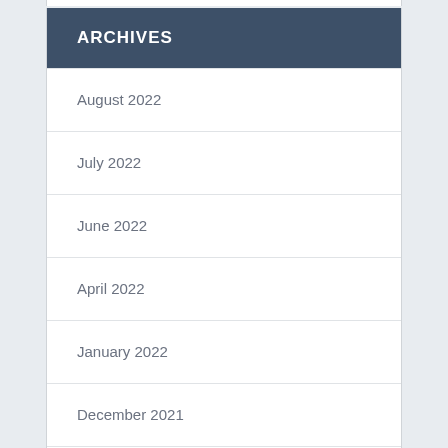ARCHIVES
August 2022
July 2022
June 2022
April 2022
January 2022
December 2021
October 2021